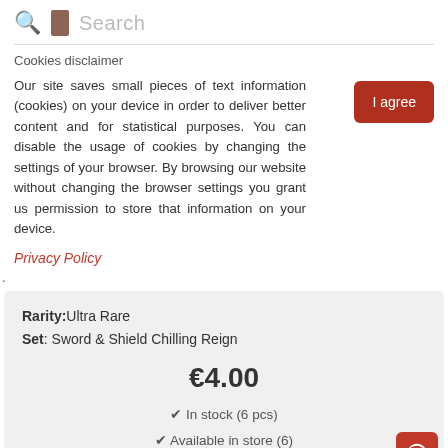Search
Cookies disclaimer
Our site saves small pieces of text information (cookies) on your device in order to deliver better content and for statistical purposes. You can disable the usage of cookies by changing the settings of your browser. By browsing our website without changing the browser settings you grant us permission to store that information on your device.
Privacy Policy
Rarity: Ultra Rare
Set: Sword & Shield Chilling Reign
€4.00
✔ In stock (6 pcs)
✔ Available in store (6)